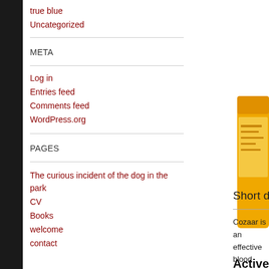true blue
Uncategorized
META
Log in
Entries feed
Comments feed
WordPress.org
PAGES
The curious incident of the dog in the park
CV
Books
welcome
contact
[Figure (photo): Yellow/orange pill bottle partially visible on right edge]
Short description
Cozaar is an effective blood pressure and to used in the treatment acts by preventing the which tends to raise b
Active Ingred